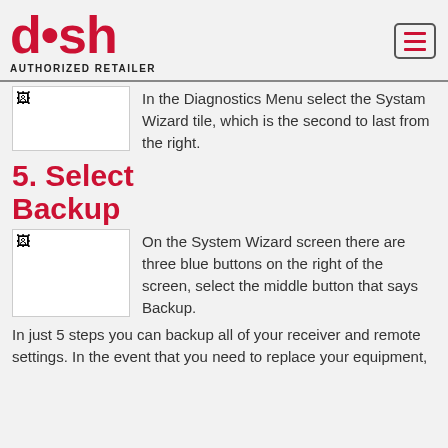[Figure (logo): DISH Authorized Retailer logo in red with hamburger menu button]
[Figure (screenshot): Broken image placeholder for Diagnostics Menu screenshot]
In the Diagnostics Menu select the Systam Wizard tile, which is the second to last from the right.
5. Select Backup
[Figure (screenshot): Broken image placeholder for System Wizard screen screenshot]
On the System Wizard screen there are three blue buttons on the right of the screen, select the middle button that says Backup.
In just 5 steps you can backup all of your receiver and remote settings. In the event that you need to replace your equipment,